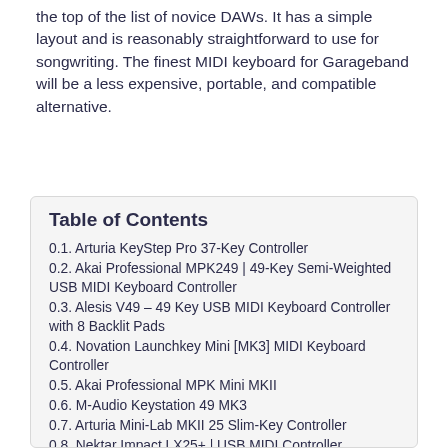the top of the list of novice DAWs. It has a simple layout and is reasonably straightforward to use for songwriting. The finest MIDI keyboard for Garageband will be a less expensive, portable, and compatible alternative.
| Table of Contents |
| --- |
| 0.1. Arturia KeyStep Pro 37-Key Controller |
| 0.2. Akai Professional MPK249 | 49-Key Semi-Weighted USB MIDI Keyboard Controller |
| 0.3. Alesis V49 – 49 Key USB MIDI Keyboard Controller with 8 Backlit Pads |
| 0.4. Novation Launchkey Mini [MK3] MIDI Keyboard Controller |
| 0.5. Akai Professional MPK Mini MKII |
| 0.6. M-Audio Keystation 49 MK3 |
| 0.7. Arturia Mini-Lab MKII 25 Slim-Key Controller |
| 0.8. Nektar Impact LX25+ | USB MIDI Controller Keyboard with Nektar DAW Integration |
| 0.9. Akai Professional MPK249 | 49-Key Semi-Weighted USB MIDI Keyboard Controller |
| 0.10. Frequently Asked Questions |
| 0.10.1. How Many Keys Should I Get? |